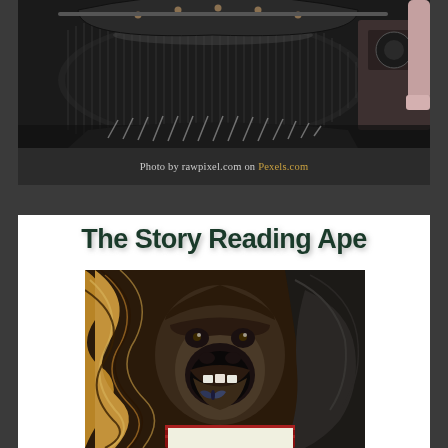[Figure (photo): Close-up photograph of a vintage black typewriter mechanism with roller and keys, person's hand visible on right side in pink/mauve color]
Photo by rawpixel.com on Pexels.com
The Story Reading Ape
[Figure (illustration): Stylized artistic illustration of an ape/gorilla face reading a book, with swirling colorful abstract background patterns in warm tones]